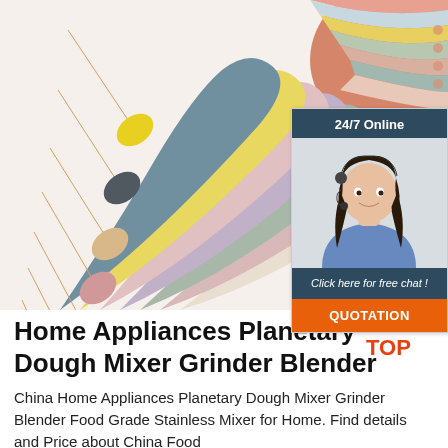[Figure (photo): Product photo showing multiple colorful silicone baby spoons with wooden handles fanned out alongside matching silicone mats/plates in pastel colors (yellow, dark grey, tan, pink, sage green, lavender, beige) on a white background. Upper right shows a close-up detail of layered silicone items in rainbow colors.]
[Figure (infographic): 24/7 Online customer chat widget with dark blue header reading '24/7 Online', a photo of a smiling female customer service agent wearing a headset in a blue shirt, dark blue footer text reading 'Click here for free chat!', and an orange button labeled 'QUOTATION'.]
Home Appliances Planetary Dough Mixer Grinder Blender
China Home Appliances Planetary Dough Mixer Grinder Blender Food Grade Stainless Mixer for Home. Find details and Price about China Food